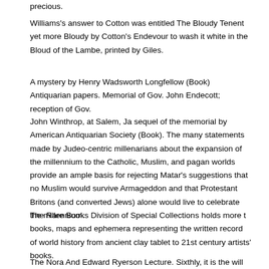precious.
Williams's answer to Cotton was entitled The Bloudy Tenent yet more Bloudy by Cotton's Endevour to wash it white in the Bloud of the Lambe, printed by Giles.
A mystery by Henry Wadsworth Longfellow (Book) Antiquarian papers. Memorial of Gov. John Endecott; reception of Gov.
John Winthrop, at Salem, Ja sequel of the memorial by American Antiquarian Society (Book). The many statements made by Judeo-centric millenarians about the expansion of the millennium to the Catholic, Muslim, and pagan worlds provide an ample basis for rejecting Matar's suggestions that no Muslim would survive Armageddon and that Protestant Britons (and converted Jews) alone would live to celebrate the millennium.
The Rare Books Division of Special Collections holds more t books, maps and ephemera representing the written record of world history from ancient clay tablet to 21st century artists' books.
The Nora And Edward Ryerson Lecture. Sixthly, it is the will and